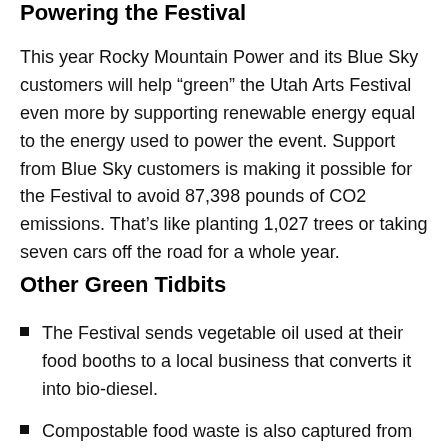Powering the Festival
This year Rocky Mountain Power and its Blue Sky customers will help “green” the Utah Arts Festival even more by supporting renewable energy equal to the energy used to power the event. Support from Blue Sky customers is making it possible for the Festival to avoid 87,398 pounds of CO2 emissions. That’s like planting 1,027 trees or taking seven cars off the road for a whole year.
Other Green Tidbits
The Festival sends vegetable oil used at their food booths to a local business that converts it into bio-diesel.
Compostable food waste is also captured from food